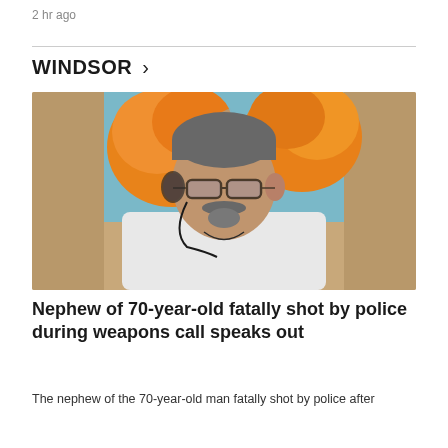2 hr ago
[Figure (photo): A middle-aged man with glasses, a goatee, wearing headphones and a white shirt, photographed in front of a colorful painting with orange floral motifs]
Nephew of 70-year-old fatally shot by police during weapons call speaks out
The nephew of the 70-year-old man fatally shot by police after